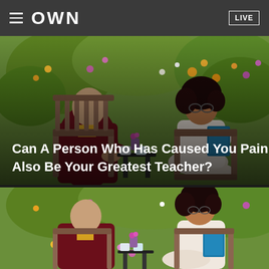OWN  LIVE
[Figure (photo): Two people sitting in wicker chairs in a garden with colorful wildflowers. On the left, a person wearing dark maroon Buddhist robes. On the right, a woman in a light pink/cream outfit holding a blue book. A small table between them with mugs and flowers. Text overlay reads: Can A Person Who Has Caused You Pain Also Be Your Greatest Teacher?]
Can A Person Who Has Caused You Pain Also Be Your Greatest Teacher?
[Figure (photo): Second photo of the same two people in the garden setting, both smiling. Person in maroon Buddhist robes on left, woman in light outfit on right holding a blue book. Colorful wildflowers in background, mugs on table between them.]